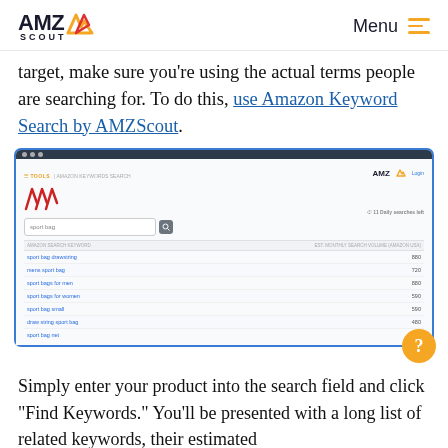AMZ SCOUT | Menu
target, make sure you're using the actual terms people are searching for. To do this, use Amazon Keyword Search by AMZScout.
[Figure (screenshot): Screenshot of AMZScout Amazon Keyword Search tool showing search results for 'sport bag' with keywords like 'sport bag drawstring', 'mens sport bag', 'sport bags for men', 'sport bags for women', 'sport bag small', 'draw string sport bag', 'sport bag net' and their monthly search volumes]
Simply enter your product into the search field and click "Find Keywords." You'll be presented with a long list of related keywords, their estimated